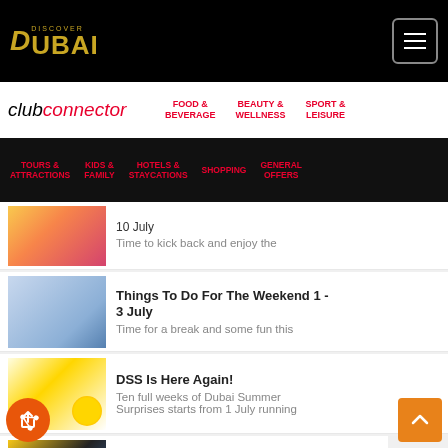Discover Dubai - Club Connector
10 July
Time to kick back and enjoy the
Things To Do For The Weekend 1 - 3 July
Time for a break and some fun this
DSS Is Here Again!
Ten full weeks of Dubai Summer Surprises starts from 1 July running
The Laughter Factory Is Back For The July Tour
Get ready for a show full of laughter!
School's Out For Summer! So What Are The Kids Going To Do?
Enjoy an active break with these fun